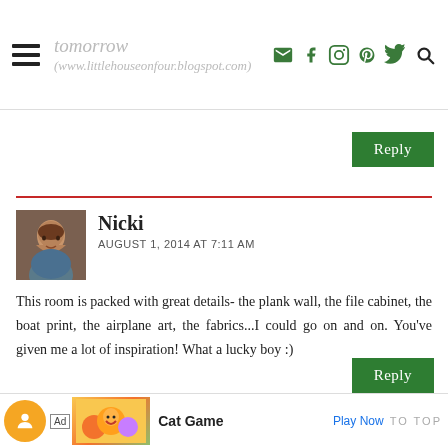tomorrow (www.littlehouseonfour.blogspot.com)
[Figure (screenshot): Reply button (green) at top of comment section]
Nicki
August 1, 2014 at 7:11 AM
This room is packed with great details- the plank wall, the file cabinet, the boat print, the airplane art, the fabrics...I could go on and on. You've given me a lot of inspiration! What a lucky boy :)
[Figure (screenshot): Reply button (green) at bottom of comment section]
[Figure (screenshot): Ad bar at bottom: Cat Game, Play Now]